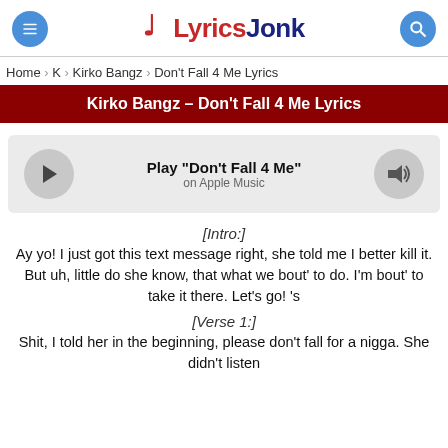LyricsJonk
Home > K > Kirko Bangz > Don't Fall 4 Me Lyrics
Kirko Bangz – Don't Fall 4 Me Lyrics
[Figure (other): Apple Music player widget with play button, 'Play Don't Fall 4 Me on Apple Music', and volume icon]
[Intro:]
Ay yo! I just got this text message right, she told me I better kill it. But uh, little do she know, that what we bout' to do. I'm bout' to take it there. Let's go! 's
[Verse 1:]
Shit, I told her in the beginning, please don't fall for a nigga. She didn't listen